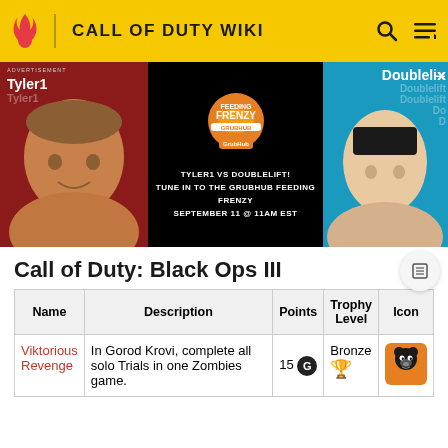CALL OF DUTY WIKI
[Figure (photo): Advertisement banner showing Tyler1 vs Doublelift Grubhub Feeding Frenzy event ad. Tyler1 on left red background, Feeding Frenzy logo center on black background, Doublelift on right blue background. Text: TYLER1 VS DOUBLELIFT! TUNE IN TO THE GRUBHUB FEEDING FRENZY SEPTEMBER 11 @ 11AM EST]
Call of Duty: Black Ops III
| Name | Description | Points | Trophy Level | Icon |
| --- | --- | --- | --- | --- |
| Viktorious Revenge | In Gorod Krovi, complete all solo Trials in one Zombies game. | 15 G | Bronze | [icon] |